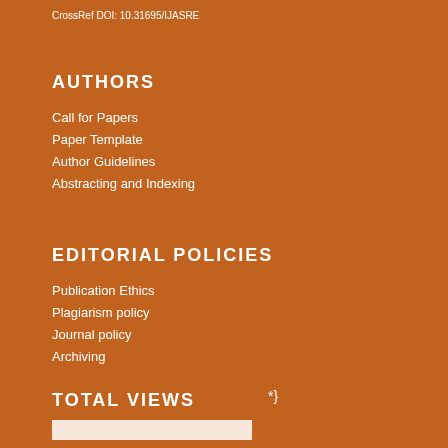CrossRef DOI: 10.31695/IJASRE
AUTHORS
Call for Papers
Paper Template
Author Guidelines
Abstracting and Indexing
EDITORIAL POLICIES
Publication Ethics
Plagiarism policy
Journal policy
Archiving
TOTAL VIEWS